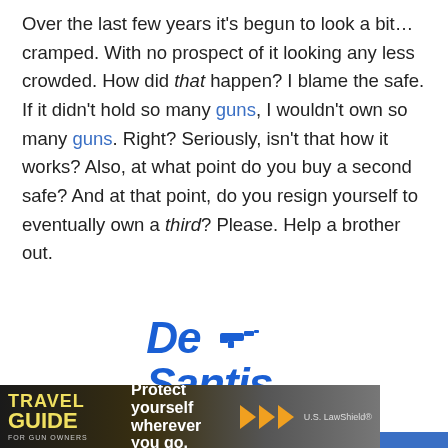Over the last few years it's begun to look a bit… cramped. With no prospect of it looking any less crowded. How did that happen? I blame the safe. If it didn't hold so many guns, I wouldn't own so many guns. Right? Seriously, isn't that how it works? Also, at what point do you buy a second safe? And at that point, do you resign yourself to eventually own a third? Please. Help a brother out.
[Figure (logo): De Santis Gunhide logo in blue italic bold text with a small pistol graphic]
[Figure (photo): Travel Guide for Gun Owners advertisement banner with 'Protect yourself wherever you go.' text and U.S. LawShield branding]